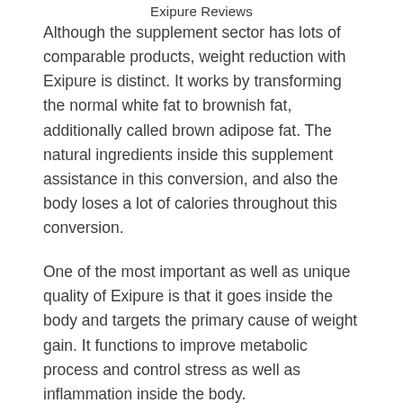Exipure Reviews
Although the supplement sector has lots of comparable products, weight reduction with Exipure is distinct. It works by transforming the normal white fat to brownish fat, additionally called brown adipose fat. The natural ingredients inside this supplement assistance in this conversion, and also the body loses a lot of calories throughout this conversion.
One of the most important as well as unique quality of Exipure is that it goes inside the body and targets the primary cause of weight gain. It functions to improve metabolic process and control stress as well as inflammation inside the body.